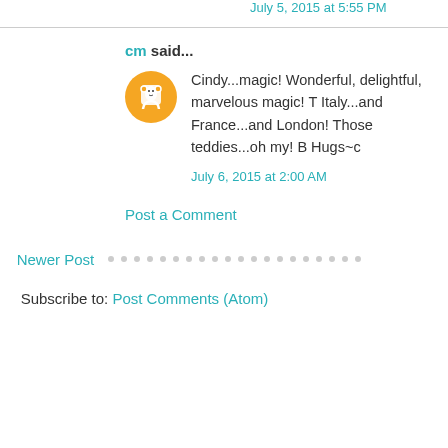July 5, 2015 at 5:55 PM
cm said...
Cindy...magic! Wonderful, delightful, marvelous magic! T Italy...and France...and London! Those teddies...oh my! B Hugs~c
July 6, 2015 at 2:00 AM
Post a Comment
Newer Post
Subscribe to: Post Comments (Atom)